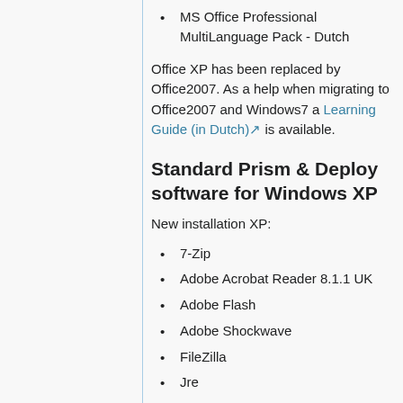MS Office Professional MultiLanguage Pack - Dutch
Office XP has been replaced by Office2007. As a help when migrating to Office2007 and Windows7 a Learning Guide (in Dutch) is available.
Standard Prism & Deploy software for Windows XP
New installation XP:
7-Zip
Adobe Acrobat Reader 8.1.1 UK
Adobe Flash
Adobe Shockwave
FileZilla
Jre
K-lite Codec Pack
McAfee VirusScan Enterprise 8.5i